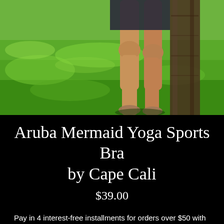[Figure (photo): Outdoor photo showing person's legs/lower body standing on green grass near a tree trunk, sunny day]
Aruba Mermaid Yoga Sports Bra by Cape Cali
$39.00
Pay in 4 interest-free installments for orders over $50 with
shop Pay  Learn more
[Figure (screenshot): Dropdown selector with teal border and English language selector popup showing US flag, English text and up arrow]